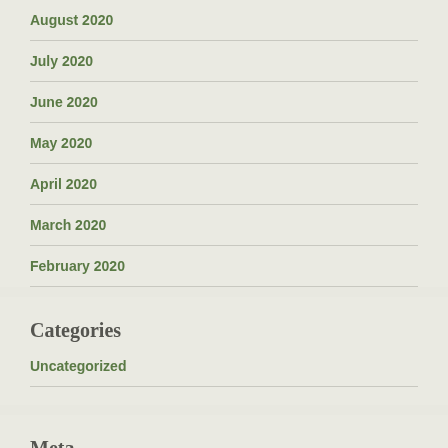August 2020
July 2020
June 2020
May 2020
April 2020
March 2020
February 2020
Categories
Uncategorized
Meta
Log in